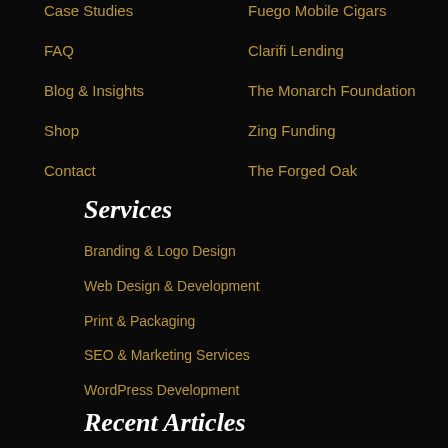Case Studies
Fuego Mobile Cigars
FAQ
Clarifi Lending
Blog & Insights
The Monarch Foundation
Shop
Zing Funding
Contact
The Forged Oak
Services
Branding & Logo Design
Web Design & Development
Print & Packaging
SEO & Marketing Services
WordPress Development
Recent Articles